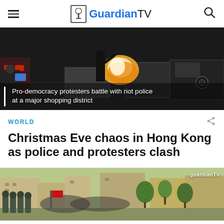Guardian TV
[Figure (photo): Pro-democracy protesters battling with riot police at a major shopping district in Hong Kong, with fire visible near barriers. Caption overlay reads: 'Pro-democracy protesters battle with riot police at a major shopping district']
WORLD
Christmas Eve chaos in Hong Kong as police and protesters clash
[Figure (photo): Street scene with riot police and protesters, Guardian TV watermark visible in top right corner]